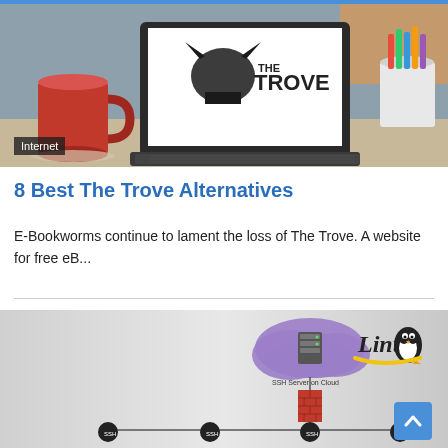[Figure (photo): Laptop showing The Trove website logo (dragon with book, 'THE TROVE' text) on screen, with red mug and colorful pencil cup on a desk surface]
Internet
8 Best The Trove Alternatives
E-Bookworms continue to lament the loss of The Trove. A website for free eB...
[Figure (engineering-diagram): Network diagram showing SSH Server on Cloud (purple cloud with server) connected via firewall (red brick rectangle) to multiple SSH nodes at the bottom, with Linux logo (penguin) on the right side]